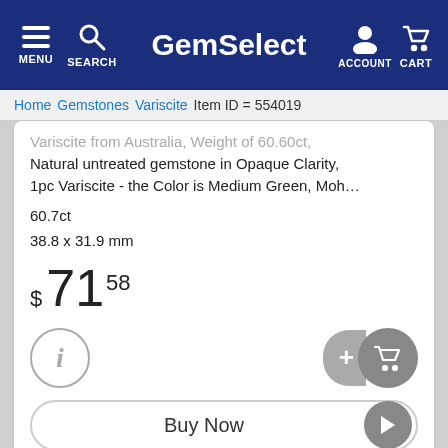GemSelect — MENU SEARCH ACCOUNT CART
Home  Gemstones  Variscite  Item ID = 554019
Variscite from Australia, Weight of 60.60ct, Natural untreated gemstone in Opaque Clarity, 1pc Variscite - the Color is Medium Green, Moh…
60.7ct
38.8 x 31.9 mm
$ 71 58
Buy Now
Like  Share  Save  Tweet